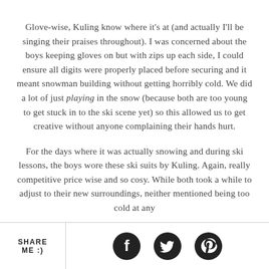Glove-wise, Kuling know where it's at (and actually I'll be singing their praises throughout). I was concerned about the boys keeping gloves on but with zips up each side, I could ensure all digits were properly placed before securing and it meant snowman building without getting horribly cold. We did a lot of just playing in the snow (because both are too young to get stuck in to the ski scene yet) so this allowed us to get creative without anyone complaining their hands hurt.
For the days where it was actually snowing and during ski lessons, the boys wore these ski suits by Kuling. Again, really competitive price wise and so cosy. While both took a while to adjust to their new surroundings, neither mentioned being too cold at any point and while paddled, they could still move around.
SHARE ME :)